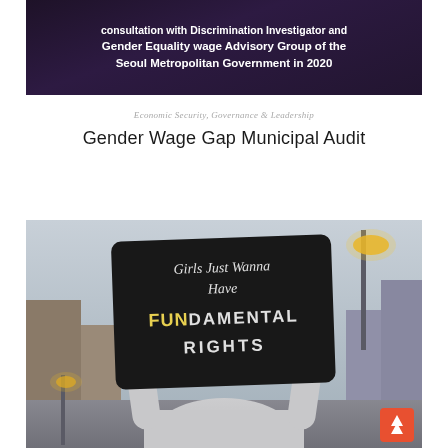[Figure (photo): Dark purple/maroon banner image with white text reading 'consultation with Discrimination Investigator and Gender Equality wage Advisory Group of the Seoul Metropolitan Government in 2020']
Economic Security, Governance & Leadership
Gender Wage Gap Municipal Audit
[Figure (photo): Protest photo showing a person in a grey hoodie holding up a black sign that reads 'Girls Just Wanna Have FUNdamental RIGHTS' with street lamps visible in the background]